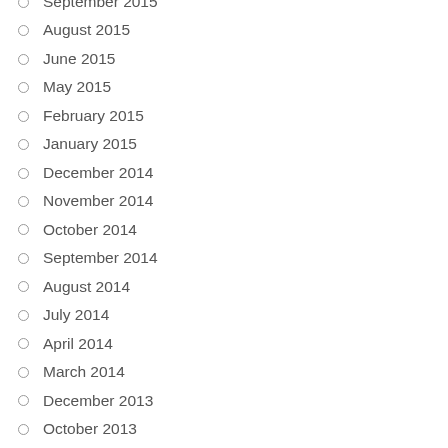September 2015
August 2015
June 2015
May 2015
February 2015
January 2015
December 2014
November 2014
October 2014
September 2014
August 2014
July 2014
April 2014
March 2014
December 2013
October 2013
September 2013
August 2013